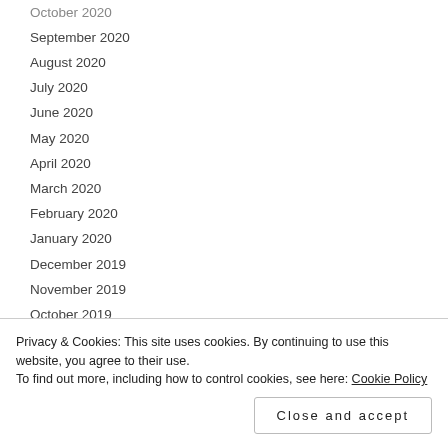October 2020
September 2020
August 2020
July 2020
June 2020
May 2020
April 2020
March 2020
February 2020
January 2020
December 2019
November 2019
October 2019
September 2019
August 2019
July 2019
June 2019
December 2018
Privacy & Cookies: This site uses cookies. By continuing to use this website, you agree to their use.
To find out more, including how to control cookies, see here: Cookie Policy
Close and accept